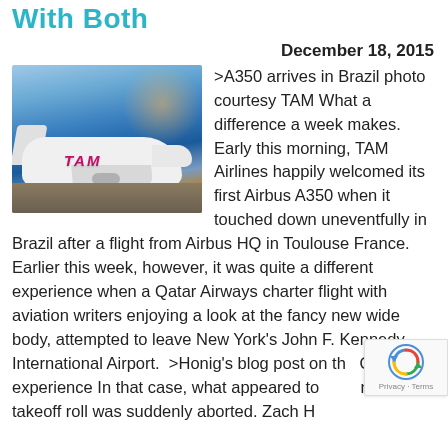With Both
December 18, 2015
[Figure (photo): TAM Airlines Airbus A350 aircraft on tarmac at night/dusk, with TAM livery visible on fuselage]
>A350 arrives in Brazil photo courtesy TAM What a difference a week makes. Early this morning, TAM Airlines happily welcomed its first Airbus A350 when it touched down uneventfully in Brazil after a flight from Airbus HQ in Toulouse France. Earlier this week, however, it was quite a different experience when a Qatar Airways charter flight with aviation writers enjoying a look at the fancy new wide body, attempted to leave New York's John F. Kennedy International Airport.  >Honig's blog post on the Qatar experience In that case, what appeared to normal takeoff roll was suddenly aborted. Zach Honig;